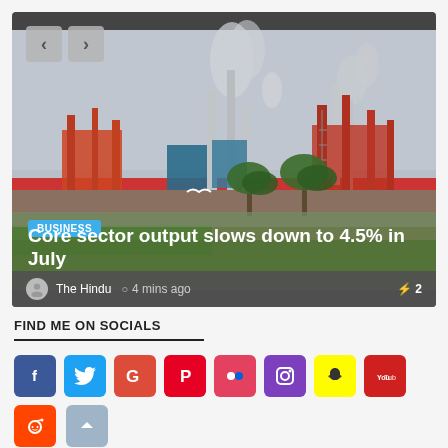[Figure (photo): Industrial oil refinery with tall chimneys emitting smoke against an overcast sky, with palm trees and greenery in the foreground. Navigation arrows visible top-left.]
BUSINESS
Core sector output slows down to 4.5% in July
The Hindu  4 mins ago  ⚡2
FIND ME ON SOCIALS
[Figure (infographic): Row of social media icon buttons: Facebook, Twitter, Google+, Pinterest, Flickr, Instagram, Snapchat, YouTube, Reddit, scroll-to-top, WhatsApp, Twitter, Telegram (partial row)]